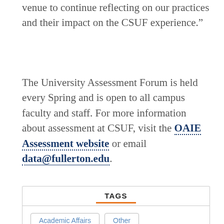venue to continue reflecting on our practices and their impact on the CSUF experience.”
The University Assessment Forum is held every Spring and is open to all campus faculty and staff. For more information about assessment at CSUF, visit the OAIE Assessment website or email data@fullerton.edu.
TAGS
Academic Affairs
Other